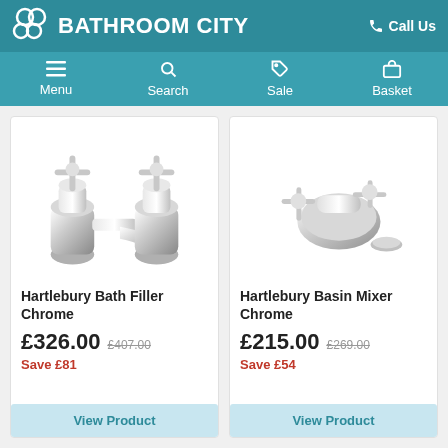BATHROOM CITY — Call Us
[Figure (screenshot): Navigation bar with Menu, Search, Sale, and Basket icons]
[Figure (photo): Hartlebury Bath Filler Chrome faucet product photo]
Hartlebury Bath Filler Chrome
£326.00  £407.00  Save £81
[Figure (photo): Hartlebury Basin Mixer Chrome faucet product photo]
Hartlebury Basin Mixer Chrome
£215.00  £269.00  Save £54